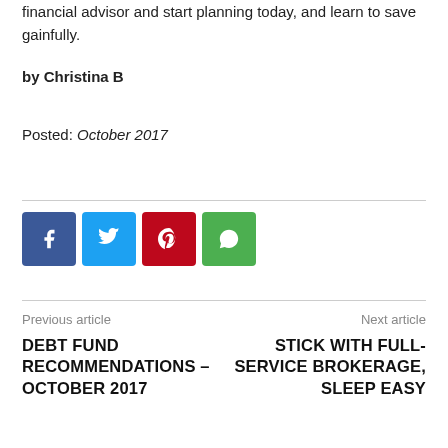financial advisor and start planning today, and learn to save gainfully.
by Christina B
Posted: October 2017
[Figure (infographic): Social sharing buttons: Facebook (blue), Twitter (light blue), Pinterest (red), WhatsApp (green)]
Previous article
DEBT FUND RECOMMENDATIONS – OCTOBER 2017
Next article
STICK WITH FULL-SERVICE BROKERAGE, SLEEP EASY